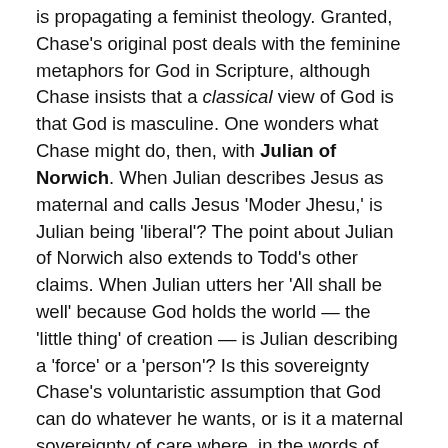is propagating a feminist theology. Granted, Chase's original post deals with the feminine metaphors for God in Scripture, although Chase insists that a classical view of God is that God is masculine. One wonders what Chase might do, then, with Julian of Norwich. When Julian describes Jesus as maternal and calls Jesus 'Moder Jhesu,' is Julian being 'liberal'? The point about Julian of Norwich also extends to Todd's other claims. When Julian utters her 'All shall be well' because God holds the world — the 'little thing' of creation — is Julian describing a 'force' or a 'person'? Is this sovereignty Chase's voluntaristic assumption that God can do whatever he wants, or is it a maternal sovereignty of care where, in the words of another classical prayer, God sends forth his spirit, and they are created, renewing the face of the earth? Is a fourteenth-century English visionary better classified as a 'liberal' or 'classical' theologian?